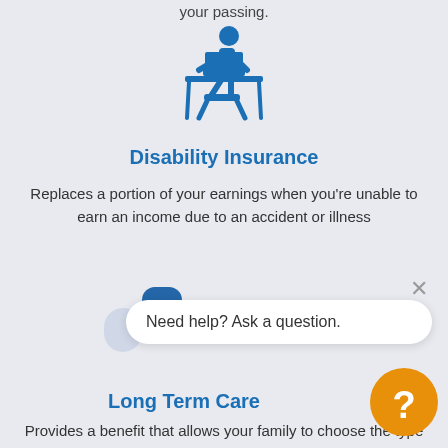your passing.
[Figure (illustration): Blue icon of a person sitting at a desk working on a laptop]
Disability Insurance
Replaces a portion of your earnings when you're unable to earn an income due to an accident or illness
[Figure (illustration): Chat bubble UI with avatar and text: Need help? Ask a question.]
Long Term Care
Provides a benefit that allows your family to choose the type of care that's best suited for your circumstances.